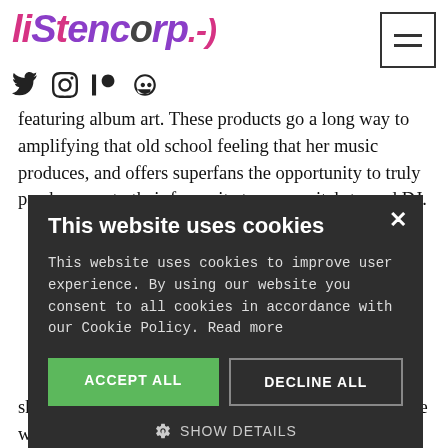[Figure (logo): Listencorp logo in pink and purple stylized font with sound wave dots]
[Figure (other): Hamburger menu icon, three horizontal lines in a square border]
[Figure (other): Social media icons: Twitter bird, Instagram camera, Patreon P, and a face/mask icon]
featuring album art. These products go a long way to amplifying that old school feeling that her music produces, and offers superfans the opportunity to truly pay homage to their favourite teenage witch-turned DJ.
Well, staying ing daring and kinda like -to-front and ?" she ponders. ed a whole f anyone can do
[Figure (other): Cookie consent modal overlay on dark background. Title: This website uses cookies. Body: This website uses cookies to improve user experience. By using our website you consent to all cookies in accordance with our Cookie Policy. Read more. Buttons: ACCEPT ALL (green), DECLINE ALL (outlined). Show details option. Powered by Cookie-Script footer.]
air few fantastic hat her work in f all. The style she utilises obscures herself from view completely. She works,